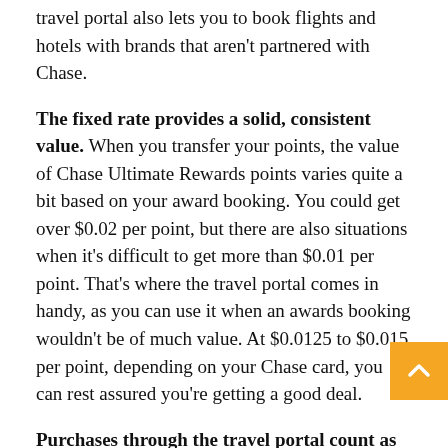travel portal also lets you to book flights and hotels with brands that aren't partnered with Chase.
The fixed rate provides a solid, consistent value. When you transfer your points, the value of Chase Ultimate Rewards points varies quite a bit based on your award booking. You could get over $0.02 per point, but there are also situations when it's difficult to get more than $0.01 per point. That's where the travel portal comes in handy, as you can use it when an awards booking wouldn't be of much value. At $0.0125 to $0.015 per point, depending on your Chase card, you can rest assured you're getting a good deal.
Purchases through the travel portal count as bookings. An important advantage of the travel portal is that even when you're paying in points, it